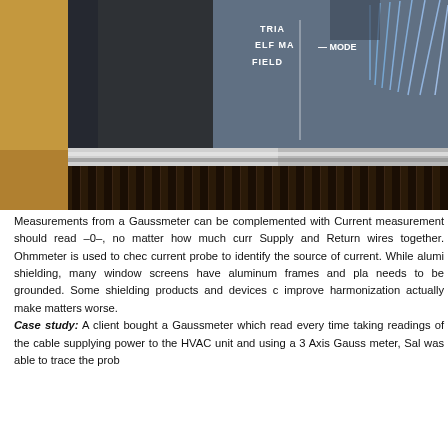[Figure (photo): Close-up photograph of a ELF Magnetic Field meter device (Gaussmeter/Triaxial model) sitting on a wooden surface. The device shows layered construction with a dark body, silver metallic band, dark ridged bottom layer, and blue-gray label panel. Partial label text visible: TRIA, ELF MA, FIELD, MODE]
Measurements from a Gaussmeter can be complemented with Current measurement should read –0-, no matter how much curr Supply and Return wires together. Ohmmeter is used to chec current probe to identify the source of current. While alumi shielding, many window screens have aluminum frames and pla needs to be grounded. Some shielding products and devices c improve harmonization actually make matters worse. Case study: A client bought a Gaussmeter which read every time taking readings of the cable supplying power to the HVAC unit and using a 3 Axis Gauss meter, Sal was able to trace the prob